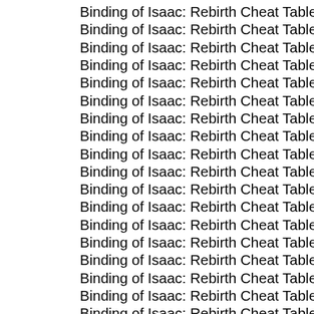Binding of Isaac: Rebirth Cheat Table.
Binding of Isaac: Rebirth Cheat Table.
Binding of Isaac: Rebirth Cheat Table.
Binding of Isaac: Rebirth Cheat Table.
Binding of Isaac: Rebirth Cheat Table.
Binding of Isaac: Rebirth Cheat Table.
Binding of Isaac: Rebirth Cheat Table.
Binding of Isaac: Rebirth Cheat Table.
Binding of Isaac: Rebirth Cheat Table.
Binding of Isaac: Rebirth Cheat Table.
Binding of Isaac: Rebirth Cheat Table.
Binding of Isaac: Rebirth Cheat Table.
Binding of Isaac: Rebirth Cheat Table.
Binding of Isaac: Rebirth Cheat Table.
Binding of Isaac: Rebirth Cheat Table.
Binding of Isaac: Rebirth Cheat Table.
Binding of Isaac: Rebirth Cheat Table.
Binding of Isaac: Rebirth Cheat Table.
Binding of Isaac: Rebirth Cheat Table.
Binding of Isaac: Rebirth Cheat Table.
Binding of Isaac: Rebirth Cheat Table.
Binding of Isaac: Rebirth Cheat Table.